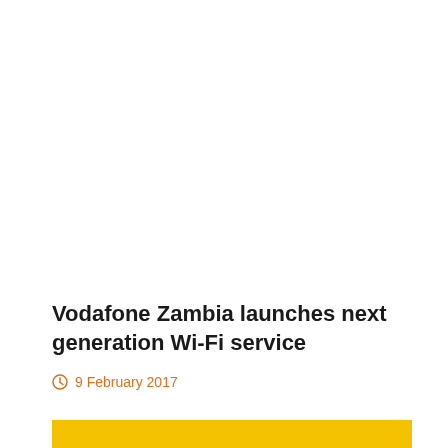Vodafone Zambia launches next generation Wi-Fi service
9 February 2017
[Figure (other): Yellow/gold colored banner bar at the bottom of the page]